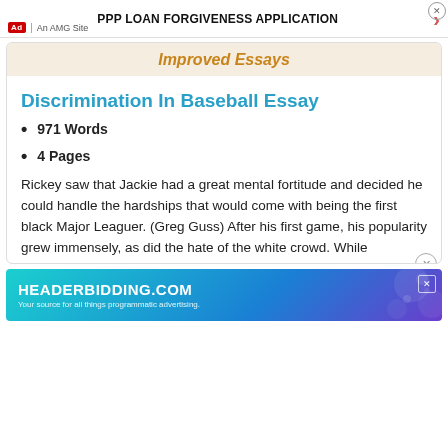PPP LOAN FORGIVENESS APPLICATION | Ad | An AMG Site
Improved Essays
Discrimination In Baseball Essay
971 Words
4 Pages
Rickey saw that Jackie had a great mental fortitude and decided he could handle the hardships that would come with being the first black Major Leaguer. (Greg Guss) After his first game, his popularity grew immensely, as did the hate of the white crowd. While
[Figure (other): HEADERBIDDING.COM advertisement banner - Your source for all things programmatic advertising.]